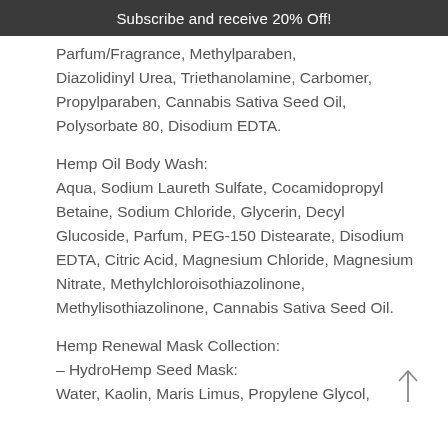Subscribe and receive 20% Off!
Parfum/Fragrance, Methylparaben, Diazolidinyl Urea, Triethanolamine, Carbomer, Propylparaben, Cannabis Sativa Seed Oil, Polysorbate 80, Disodium EDTA.
Hemp Oil Body Wash:
Aqua, Sodium Laureth Sulfate, Cocamidopropyl Betaine, Sodium Chloride, Glycerin, Decyl Glucoside, Parfum, PEG-150 Distearate, Disodium EDTA, Citric Acid, Magnesium Chloride, Magnesium Nitrate, Methylchloroisothiazolinone, Methylisothiazolinone, Cannabis Sativa Seed Oil.
Hemp Renewal Mask Collection:
– HydroHemp Seed Mask:
Water, Kaolin, Maris Limus, Propylene Glycol,